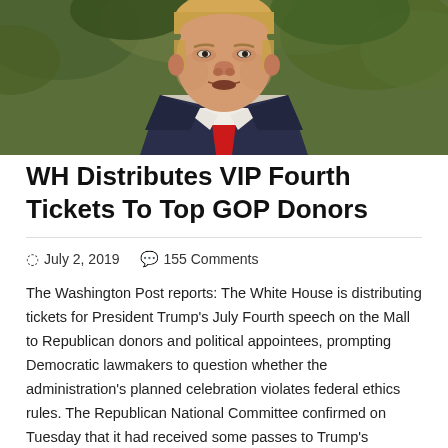[Figure (photo): Close-up photograph of a man in a dark suit with a red tie, speaking outdoors with green foliage in the background.]
WH Distributes VIP Fourth Tickets To Top GOP Donors
July 2, 2019   155 Comments
The Washington Post reports: The White House is distributing tickets for President Trump's July Fourth speech on the Mall to Republican donors and political appointees, prompting Democratic lawmakers to question whether the administration's planned celebration violates federal ethics rules. The Republican National Committee confirmed on Tuesday that it had received some passes to Trump's address at the Lincoln Memorial, which …
Read More »